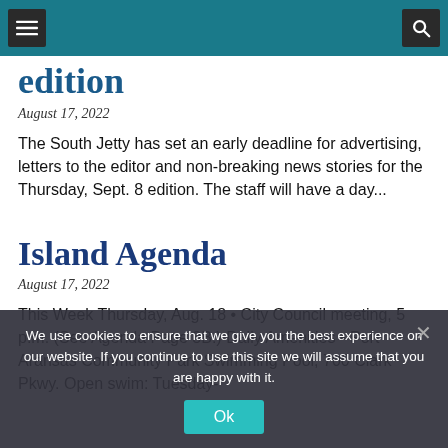Navigation bar with menu and search icons
edition
August 17, 2022
The South Jetty has set an early deadline for advertising, letters to the editor and non-breaking news stories for the Thursday, Sept. 8 edition. The staff will have a day...
Island Agenda
August 17, 2022
This Week Thursday, Aug. 18 • City Council meeting, 5 p.m. (See Agenda Page 3B.) Daily Amenities • Port Aransas Community Park Swimming Pool, 700 Clark Pkwy. Open swim: Tuesday-
We use cookies to ensure that we give you the best experience on our website. If you continue to use this site we will assume that you are happy with it.